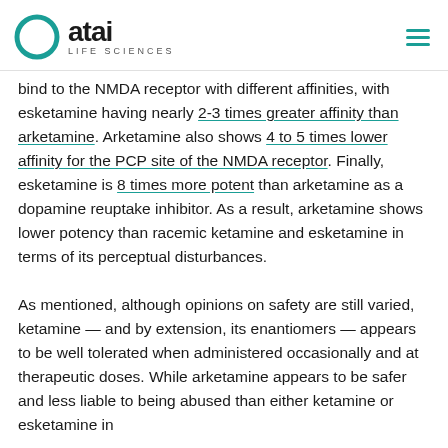atai LIFE SCIENCES
bind to the NMDA receptor with different affinities, with esketamine having nearly 2-3 times greater affinity than arketamine. Arketamine also shows 4 to 5 times lower affinity for the PCP site of the NMDA receptor. Finally, esketamine is 8 times more potent than arketamine as a dopamine reuptake inhibitor. As a result, arketamine shows lower potency than racemic ketamine and esketamine in terms of its perceptual disturbances.
As mentioned, although opinions on safety are still varied, ketamine — and by extension, its enantiomers — appears to be well tolerated when administered occasionally and at therapeutic doses. While arketamine appears to be safer and less liable to being abused than either ketamine or esketamine in